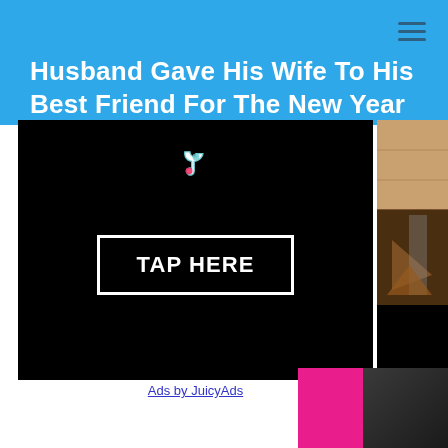Husband Gave His Wife To His Best Friend For The New Year
[Figure (photo): Advertisement image with black background, TikTok logo at top, and a white-bordered button reading TAP HERE]
Ads by JuicyAds
[Figure (photo): Partial image of wooden interior with dark tones on the right side of the page]
[Figure (photo): Partial image at bottom right showing a pink/magenta background with a woman in dark clothing]